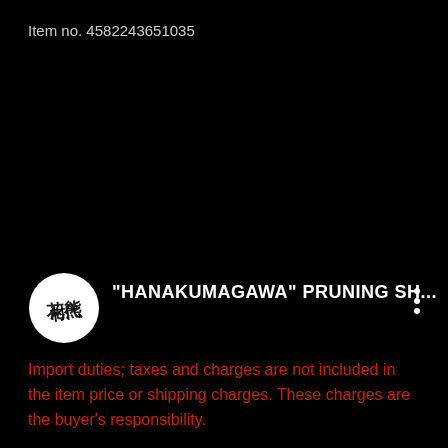Item no. 4582243651035
[Figure (logo): Circular white logo with stylized Japanese/artistic text mark in black]
"HANAKUMAGAWA" PRUNING SH...
Import duties; taxes and charges are not included in the item price or shipping charges. These charges are the buyer's responsibility.